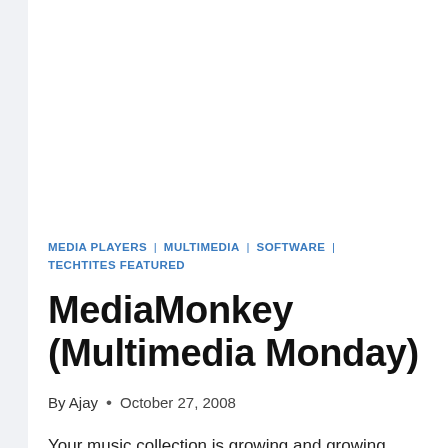MEDIA PLAYERS | MULTIMEDIA | SOFTWARE | TECHTITES FEATURED
MediaMonkey (Multimedia Monday)
By Ajay • October 27, 2008
Your music collection is growing and growing